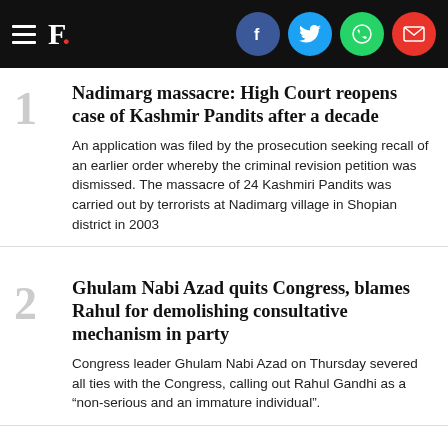F. [Firstpost logo with social share icons: Facebook, Twitter, WhatsApp, Email]
1. Nadimarg massacre: High Court reopens case of Kashmir Pandits after a decade
An application was filed by the prosecution seeking recall of an earlier order whereby the criminal revision petition was dismissed. The massacre of 24 Kashmiri Pandits was carried out by terrorists at Nadimarg village in Shopian district in 2003
2. Ghulam Nabi Azad quits Congress, blames Rahul for demolishing consultative mechanism in party
Congress leader Ghulam Nabi Azad on Thursday severed all ties with the Congress, calling out Rahul Gandhi as a “non-serious and an immature individual”.
3. Tetsuya Yamagami, the suspect in the murder of former Japanese PM Abe, says life destroyed by mother’s religion
More than 7,000 people have signed a petition